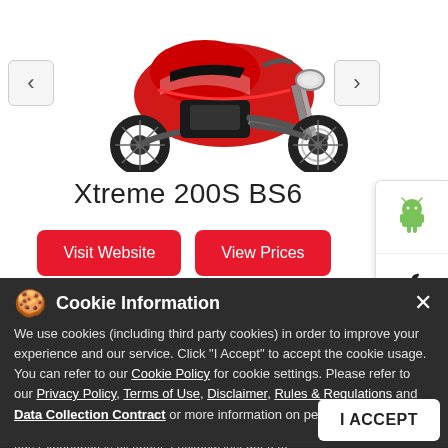[Figure (photo): Red and black Hero Xtreme 200S BS6 motorcycle on white background, shown in side profile view]
Xtreme 200S BS6
Visit Website
View Prices
[Figure (logo): Android robot logo (green)]
[Figure (logo): Apple logo (black)]
Cookie Information
We use cookies (including third party cookies) in order to improve your experience and our service. Click "I Accept" to accept the cookie usage. You can refer to our Cookie Policy for cookie settings. Please refer to our Privacy Policy, Terms of Use, Disclaimer, Rules & Regulations and Data Collection Contract or more information on personal data usage.
The rush of adrenaline. The thrill of speed. That's what the Hero Bikes Experience is all about. Lucknow just got a taste of what raw power feels like. Join us and experience the #GoBoomfeeling. #XtremeStealth #GoBoomInStealthMode #Xtreme150R #GoB...